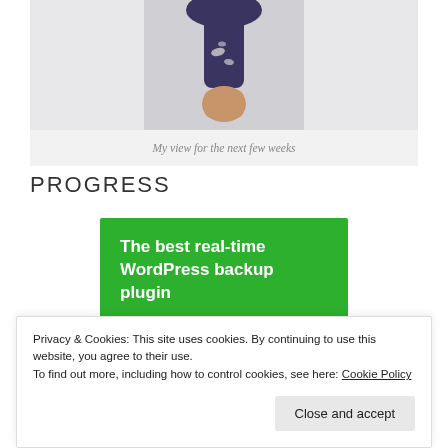[Figure (photo): Close-up photo of a hand holding a spatula/paint brush handle from below, against a light gray background]
My view for the next few weeks
PROGRESS
[Figure (infographic): Green advertisement banner: 'The best real-time WordPress backup plugin' with a white button 'Back up your site']
Privacy & Cookies: This site uses cookies. By continuing to use this website, you agree to their use.
To find out more, including how to control cookies, see here: Cookie Policy